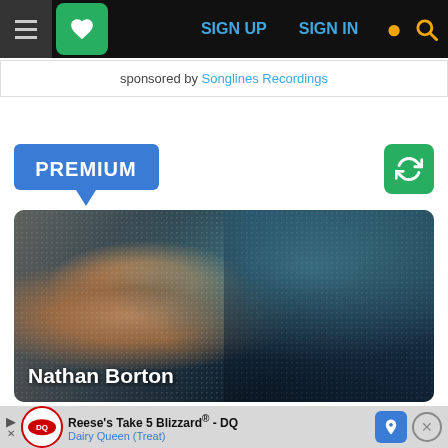SIGN UP  SIGN IN
sponsored by Songlines Recordings
PREMIUM
[Figure (photo): Portrait photo of Nathan Borton, a young man in a suit with glasses, smiling, against an urban/outdoor background with trees and buildings]
Nathan Borton
Reese's Take 5 Blizzard® - DQ  Dairy Queen (Treat)